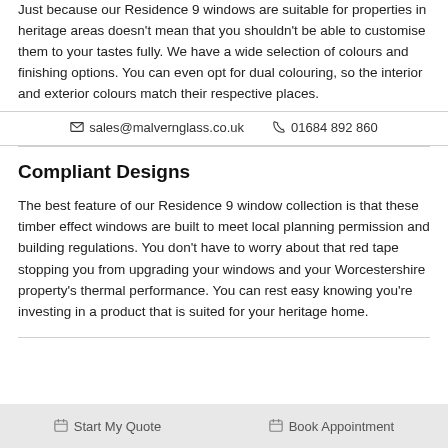Just because our Residence 9 windows are suitable for properties in heritage areas doesn't mean that you shouldn't be able to customise them to your tastes fully. We have a wide selection of colours and finishing options. You can even opt for dual colouring, so the interior and exterior colours match their respective places.
✉ sales@malvernglass.co.uk   ☎ 01684 892 860
Compliant Designs
The best feature of our Residence 9 window collection is that these timber effect windows are built to meet local planning permission and building regulations. You don't have to worry about that red tape stopping you from upgrading your windows and your Worcestershire property's thermal performance. You can rest easy knowing you're investing in a product that is suited for your heritage home.
Start My Quote   Book Appointment